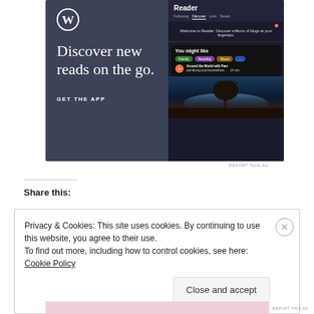[Figure (screenshot): WordPress app advertisement banner with dark blue-grey background. Left side shows WordPress logo (W in circle), text 'Discover new reads on the go.' and 'GET THE APP'. Right side shows a phone mockup of the Reader interface with 'Discover' tab, 'You might like' section with category tags (Family, Reading, Music), 'Around the World with Pam' blog entry, and a tree silhouette photo.]
REPORT THIS AD
Share this:
Privacy & Cookies: This site uses cookies. By continuing to use this website, you agree to their use.
To find out more, including how to control cookies, see here: Cookie Policy
Close and accept